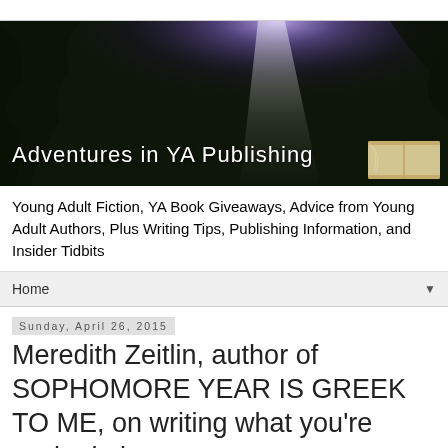[Figure (photo): Adventures in YA Publishing website banner — dark forest scene with purple/white light rays shining from top center, an open book in bottom right corner, white text 'Adventures in YA Publishing' at bottom left]
Young Adult Fiction, YA Book Giveaways, Advice from Young Adult Authors, Plus Writing Tips, Publishing Information, and Insider Tidbits
Home ▼
Sunday, April 26, 2015
Meredith Zeitlin, author of SOPHOMORE YEAR IS GREEK TO ME, on writing what you're excited about